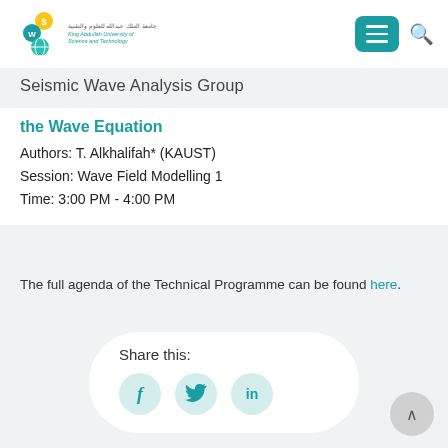Seismic Wave Analysis Group
the Wave Equation
Authors: T. Alkhalifah* (KAUST)
Session: Wave Field Modelling 1
Time: 3:00 PM - 4:00 PM
The full agenda of the Technical Programme can be found here.
Share this: